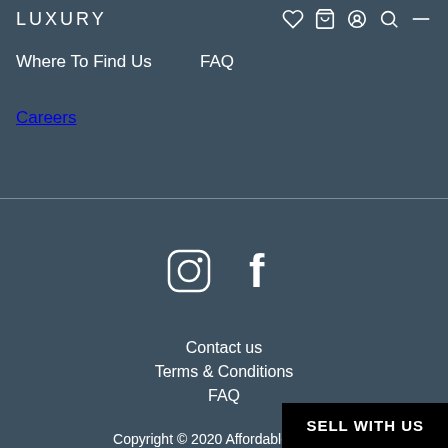LUXURY
Where To Find Us
FAQ
Careers
[Figure (logo): Instagram icon (rounded square with circle inside)]
[Figure (logo): Facebook icon (letter f)]
Contact us
Terms & Conditions
FAQ
Copyright © 2020 Affordable Luxury
SELL WITH US